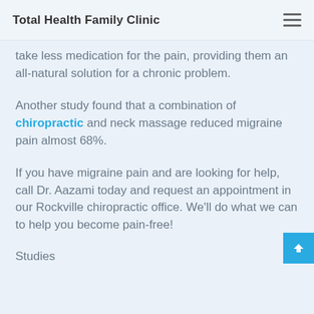Total Health Family Clinic
take less medication for the pain, providing them an all-natural solution for a chronic problem.
Another study found that a combination of chiropractic and neck massage reduced migraine pain almost 68%.
If you have migraine pain and are looking for help, call Dr. Aazami today and request an appointment in our Rockville chiropractic office. We'll do what we can to help you become pain-free!
Studies